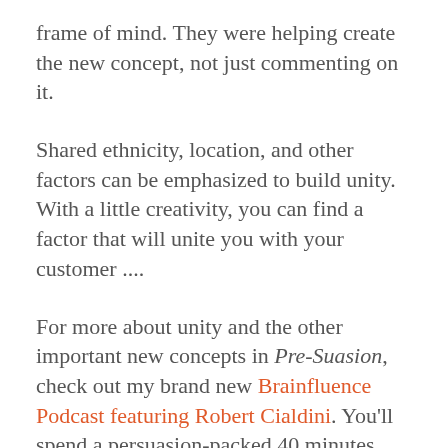frame of mind. They were helping create the new concept, not just commenting on it.
Shared ethnicity, location, and other factors can be emphasized to build unity. With a little creativity, you can find a factor that will unite you with your customer ....
For more about unity and the other important new concepts in Pre-Suasion, check out my brand new Brainfluence Podcast featuring Robert Cialdini. You'll spend a persuasion-packed 40 minutes with the scientist who created the field. And, if you don't have time to listen, just